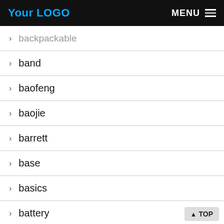Your LOGO | MENU
> backpackable
> band
> baofeng
> baojie
> barrett
> base
> basics
> battery
> beautiful
> beauty
> beginner
> berryville